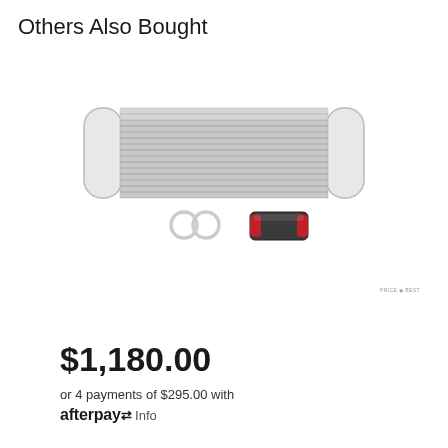Others Also Bought
[Figure (photo): An intercooler kit product photo showing a silver bar-and-plate intercooler core with end tanks, two circular clamps/couplers, and a black coupler with red ends on a white background. Small watermark text reads 'PRICE BEST' at bottom right.]
$1,180.00
or 4 payments of $295.00 with afterpay  Info